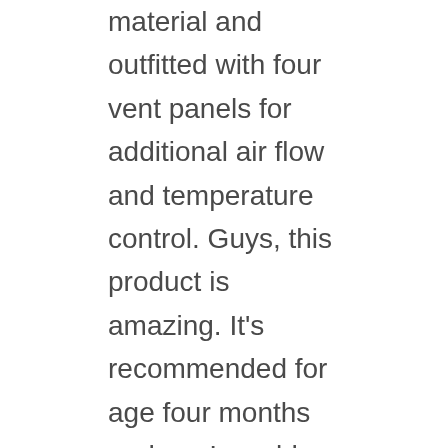material and outfitted with four vent panels for additional air flow and temperature control. Guys, this product is amazing. It's recommended for age four months and up. I would say that I totally recommend this product for any of my clients especially cause all y'all love to travel and this is the best product to travel with, have blackout conditions. I'm so excited. in this episode, Natalie and I actually talk about our experience with the slumber pod. So if you are interested, listen to the episode and then head on over to